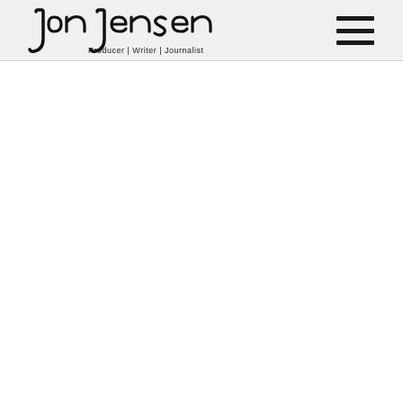Jon Jensen – Producer | Writer | Journalist